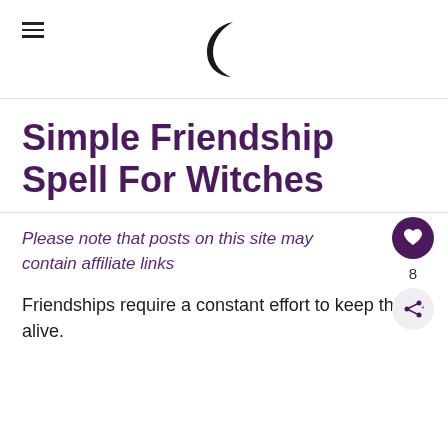≡ (crescent moon logo)
Simple Friendship Spell For Witches
Please note that posts on this site may contain affiliate links
Friendships require a constant effort to keep them alive.